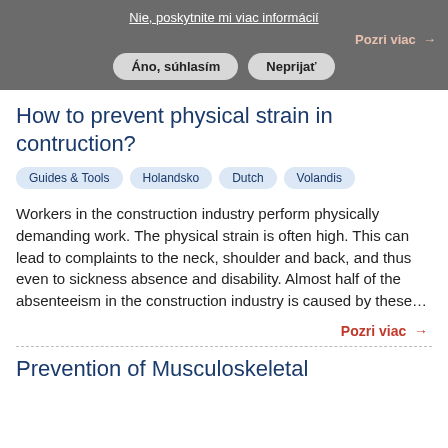Nie, poskytnite mi viac informácií
Pozri viac →
Áno, súhlasím   Neprijať
How to prevent physical strain in contruction?
Guides & Tools
Holandsko
Dutch
Volandis
Workers in the construction industry perform physically demanding work. The physical strain is often high. This can lead to complaints to the neck, shoulder and back, and thus even to sickness absence and disability. Almost half of the absenteeism in the construction industry is caused by these…
Pozri viac →
Prevention of Musculoskeletal